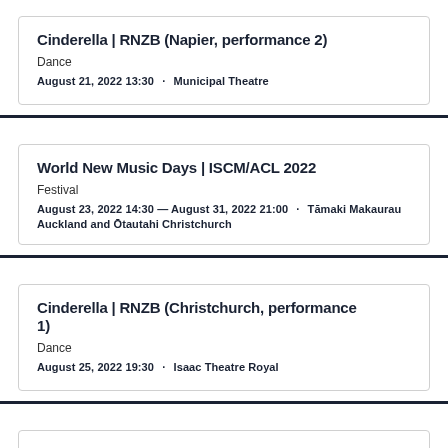Cinderella | RNZB (Napier, performance 2)
Dance
August 21, 2022 13:30  ·  Municipal Theatre
World New Music Days | ISCM/ACL 2022
Festival
August 23, 2022 14:30 — August 31, 2022 21:00  ·  Tāmaki Makaurau Auckland and Ōtautahi Christchurch
Cinderella | RNZB (Christchurch, performance 1)
Dance
August 25, 2022 19:30  ·  Isaac Theatre Royal
Cinderella | RNZB (Christchurch, performance